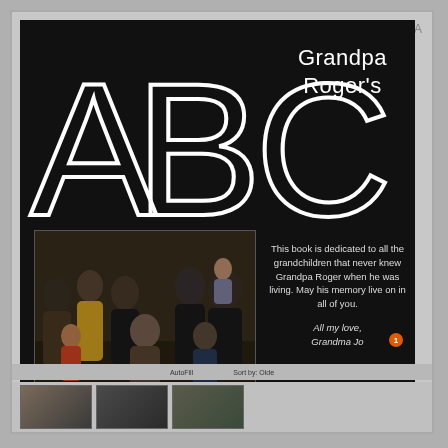[Figure (screenshot): Screenshot of a digital book cover design on a dark background showing large outlined letters ABC with the text 'Grandpa Roger's' and a family photo, along with a dedication message]
Grandpa Roger's
ABC
[Figure (photo): Family group photo showing multiple adults and children seated and standing together in an indoor setting]
This book is dedicated to all the grandchildren that never knew Grandpa Roger when he was living. May his memory live on in all of you.

All my love,
Grandma Jo